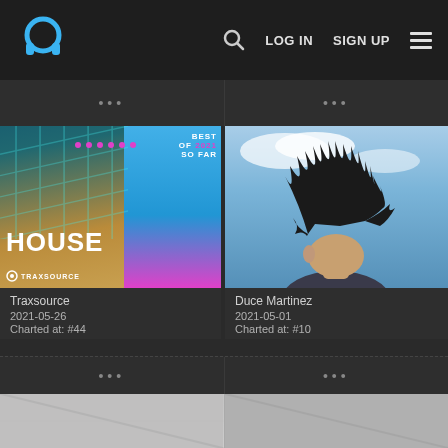Headphone logo | Search | LOG IN | SIGN UP | Menu
[Figure (screenshot): Partial card row showing '...' dots on two cards]
[Figure (photo): Traxsource 'Best of 2021 So Far - House' album art with gradient background]
Traxsource
2021-05-26
Charted at: #44
[Figure (photo): Photo of a person with wild black hair blown back, looking upward against a blue sky]
Duce Martinez
2021-05-01
Charted at: #10
[Figure (screenshot): Partial bottom cards row showing '...' dots]
[Figure (screenshot): Partially visible bottom row of cards]